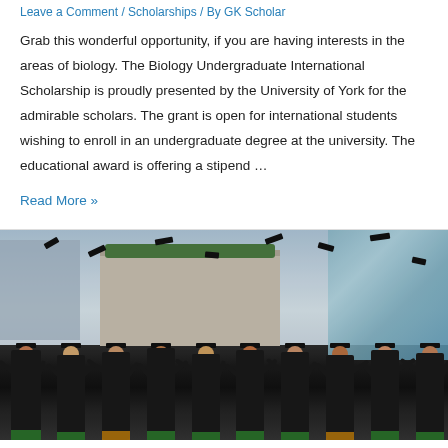Leave a Comment / Scholarships / By GK Scholar
Grab this wonderful opportunity, if you are having interests in the areas of biology. The Biology Undergraduate International Scholarship is proudly presented by the University of York for the admirable scholars. The grant is open for international students wishing to enroll in an undergraduate degree at the university. The educational award is offering a stipend …
Read More »
[Figure (photo): Group of female graduates in black robes with green sashes, throwing graduation caps in the air outdoors, celebrating in front of stone buildings and a glass building.]